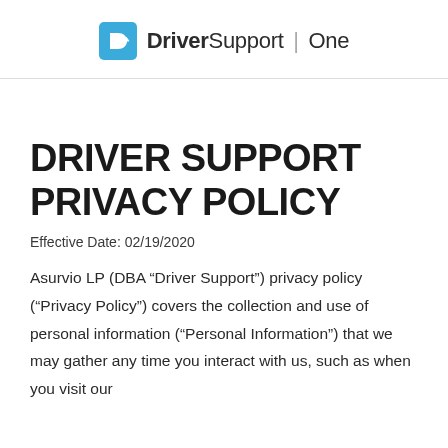[Figure (logo): DriverSupport One logo with blue square icon containing a D arrow symbol, followed by bold 'Driver' and regular 'Support' text with a vertical divider and 'One' in light weight]
DRIVER SUPPORT PRIVACY POLICY
Effective Date: 02/19/2020
Asurvio LP (DBA “Driver Support”) privacy policy (“Privacy Policy”) covers the collection and use of personal information (“Personal Information”) that we may gather any time you interact with us, such as when you visit our